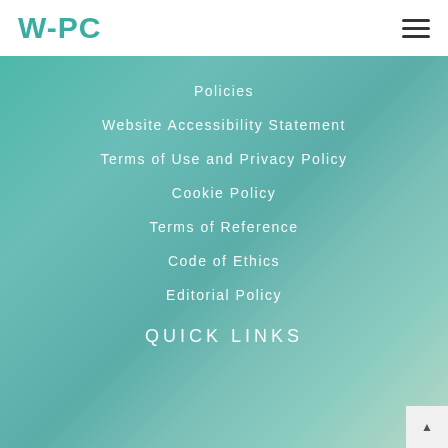WHPC
Policies
Website Accessibility Statement
Terms of Use and Privacy Policy
Cookie Policy
Terms of Reference
Code of Ethics
Editorial Policy
QUICK LINKS